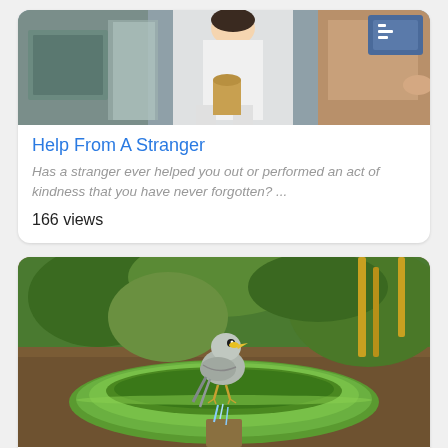[Figure (photo): Photo of a person in white clothing near a store entrance, partially visible, cardboard cutout style]
Help From A Stranger
Has a stranger ever helped you out or performed an act of kindness that you have never forgotten? ...
166 views
[Figure (photo): Photo of a small grey bird with yellow beak perched on a green ceramic bird bath in a garden]
A Positive Start To The Day